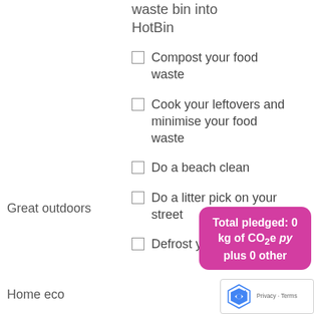waste bin into HotBin
Compost your food waste
Cook your leftovers and minimise your food waste
Great outdoors
Do a beach clean
Do a litter pick on your street
Defrost your freezer and
Home eco
Total pledged: 0 kg of CO2e py plus 0 other